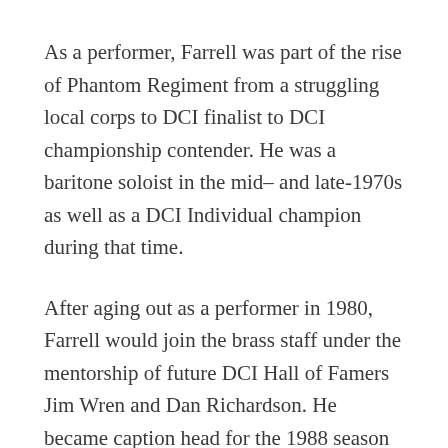As a performer, Farrell was part of the rise of Phantom Regiment from a struggling local corps to DCI finalist to DCI championship contender. He was a baritone soloist in the mid– and late-1970s as well as a DCI Individual champion during that time.
After aging out as a performer in 1980, Farrell would join the brass staff under the mentorship of future DCI Hall of Famers Jim Wren and Dan Richardson. He became caption head for the 1988 season and, a year later, the corps won the high brass award while placing second in finals. The powerful hornlines continued under his leadership through 1992.
It was prior to the 1993 season that Farrell took the